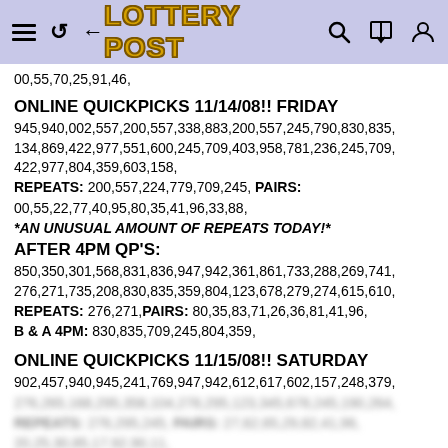LOTTERY POST
00,55,70,25,91,46,
ONLINE QUICKPICKS 11/14/08!! FRIDAY
945,940,002,557,200,557,338,883,200,557,245,790,830,835,134,869,422,977,551,600,245,709,403,958,781,236,245,709,422,977,804,359,603,158,
REPEATS: 200,557,224,779,709,245, PAIRS:
00,55,22,77,40,95,80,35,41,96,33,88,
*AN UNUSUAL AMOUNT OF REPEATS TODAY!*
AFTER 4PM QP'S:
850,350,301,568,831,836,947,942,361,861,733,288,269,741,276,271,735,208,830,835,359,804,123,678,279,274,615,610,
REPEATS: 276,271,PAIRS: 80,35,83,71,26,36,81,41,96,
B & A 4PM: 830,835,709,245,804,359,
ONLINE QUICKPICKS 11/15/08!! SATURDAY
902,457,940,945,241,769,947,942,612,617,602,157,248,379,
[blurred text]
REPEATS: [blurred]
20,25,30,85,17,92,90,11,